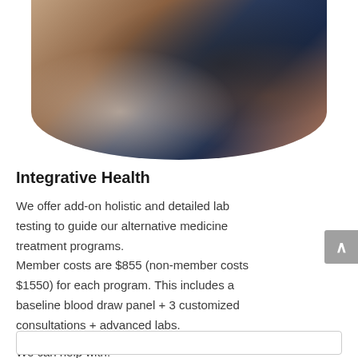[Figure (photo): A medical consultation scene showing a patient with dark hair sitting with their back to the camera and a healthcare provider in dark clothing with a stethoscope, in a clinic setting with a wooden desk and tablet visible in the background. The image is cropped in a rounded rectangle shape.]
Integrative Health
We offer add-on holistic and detailed lab testing to guide our alternative medicine treatment programs.
Member costs are $855 (non-member costs $1550) for each program. This includes a baseline blood draw panel + 3 customized consultations + advanced labs.
We can help with: